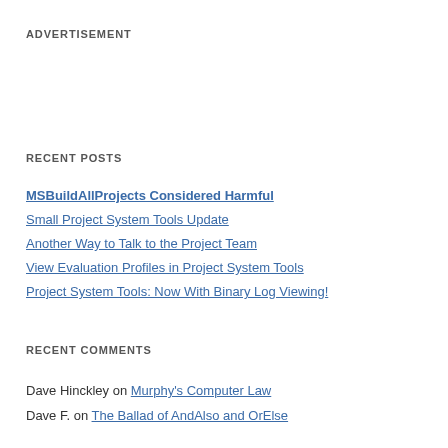ADVERTISEMENT
RECENT POSTS
MSBuildAllProjects Considered Harmful
Small Project System Tools Update
Another Way to Talk to the Project Team
View Evaluation Profiles in Project System Tools
Project System Tools: Now With Binary Log Viewing!
RECENT COMMENTS
Dave Hinckley on Murphy's Computer Law
Dave F. on The Ballad of AndAlso and OrElse